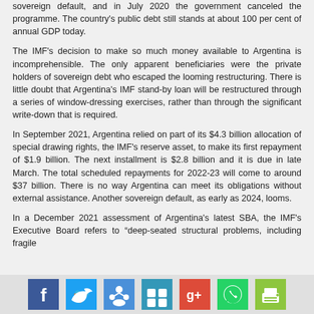sovereign default, and in July 2020 the government canceled the programme. The country's public debt still stands at about 100 per cent of annual GDP today.
The IMF's decision to make so much money available to Argentina is incomprehensible. The only apparent beneficiaries were the private holders of sovereign debt who escaped the looming restructuring. There is little doubt that Argentina's IMF stand-by loan will be restructured through a series of window-dressing exercises, rather than through the significant write-down that is required.
In September 2021, Argentina relied on part of its $4.3 billion allocation of special drawing rights, the IMF's reserve asset, to make its first repayment of $1.9 billion. The next installment is $2.8 billion and it is due in late March. The total scheduled repayments for 2022-23 will come to around $37 billion. There is no way Argentina can meet its obligations without external assistance. Another sovereign default, as early as 2024, looms.
In a December 2021 assessment of Argentina's latest SBA, the IMF's Executive Board refers to “deep-seated structural problems, including fragile
[Figure (infographic): Social media sharing buttons: Facebook (blue), Twitter (blue), a people/share icon (blue), Delicious (blue/teal), Google+ (red), WhatsApp (green), and a print/share button (green)]